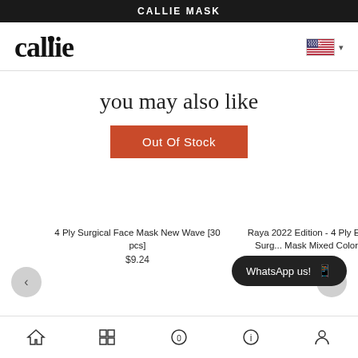CALLIE MASK
callie (logo)
you may also like
Out Of Stock
4 Ply Surgical Face Mask New Wave [30 pcs]
$9.24
Raya 2022 Edition - 4 Ply Earloop Surgical Mask Mixed Colors [50
WhatsApp us!
Home | Grid | Cart | Info | Account (navigation icons)